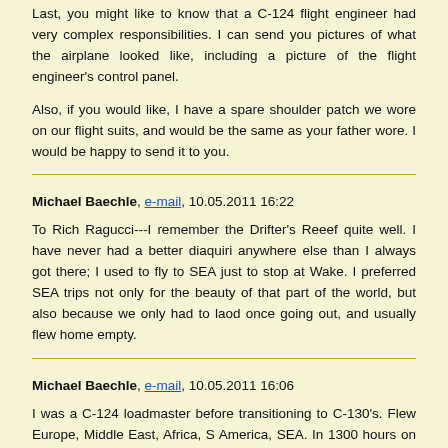Last, you might like to know that a C-124 flight engineer had very complex responsibilities. I can send you pictures of what the airplane looked like, including a picture of the flight engineer's control panel.

Also, if you would like, I have a spare shoulder patch we wore on our flight suits, and would be the same as your father wore. I would be happy to send it to you.
Michael Baechle, e-mail, 10.05.2011 16:22
To Rich Ragucci---I remember the Drifter's Reeef quite well. I have never had a better diaquiri anywhere else than I always got there; I used to fly to SEA just to stop at Wake. I preferred SEA trips not only for the beauty of that part of the world, but also because we only had to laod once going out, and usually flew home empty.
Michael Baechle, e-mail, 10.05.2011 16:06
I was a C-124 loadmaster before transitioning to C-130's. Flew Europe, Middle East, Africa, S America, SEA. In 1300 hours on the C-124, I had three engine shutdowns, one blown exhaust stack, a runaway prop and a prop that was about